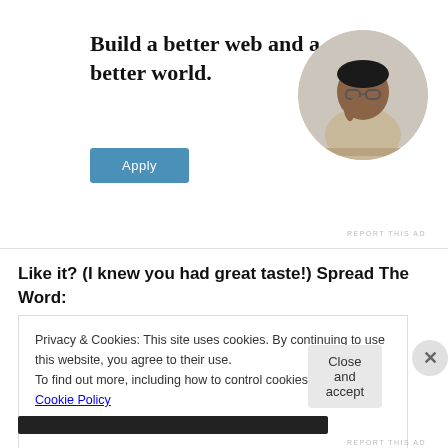[Figure (illustration): Advertisement banner with text 'Build a better web and a better world.' and an Apply button, plus a circular photo of a person thinking at a desk]
REPORT THIS AD
Like it? (I knew you had great taste!) Spread The Word:
Privacy & Cookies: This site uses cookies. By continuing to use this website, you agree to their use.
To find out more, including how to control cookies, see here: Cookie Policy
REPORT THIS AD